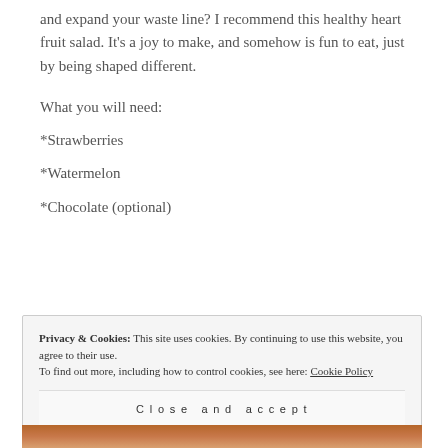and expand your waste line? I recommend this healthy heart fruit salad. It's a joy to make, and somehow is fun to eat, just by being shaped different.
What you will need:
*Strawberries
*Watermelon
*Chocolate (optional)
Privacy & Cookies: This site uses cookies. By continuing to use this website, you agree to their use.
To find out more, including how to control cookies, see here: Cookie Policy
Close and accept
[Figure (photo): Photo strip of fruit salad at bottom of page]